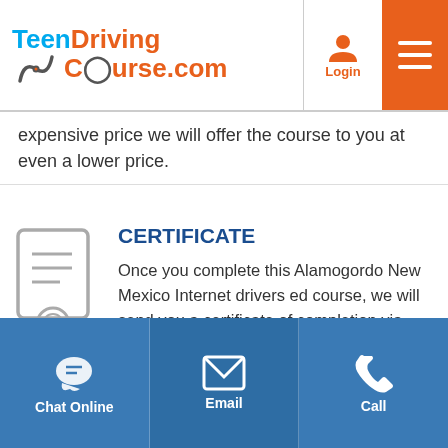TeenDrivingCourse.com
expensive price we will offer the course to you at even a lower price.
CERTIFICATE
Once you complete this Alamogordo New Mexico Internet drivers ed course, we will send you a certificate of completion via regular US Mail or through one of our convenient FedEx shipping options.
Chat Online | Email | Call